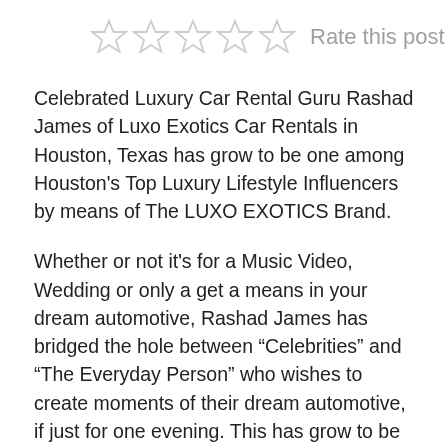[Figure (other): Five empty star rating icons with 'Rate this post' text]
Celebrated Luxury Car Rental Guru Rashad James of Luxo Exotics Car Rentals in Houston, Texas has grow to be one among Houston's Top Luxury Lifestyle Influencers by means of The LUXO EXOTICS Brand.
Whether or not it's for a Music Video, Wedding or only a get a means in your dream automotive, Rashad James has bridged the hole between “Celebrities” and “The Everyday Person” who wishes to create moments of their dream automotive, if just for one evening. This has grow to be his extraordinarily personable method and signature within the quickly rising Luxury Car Rental